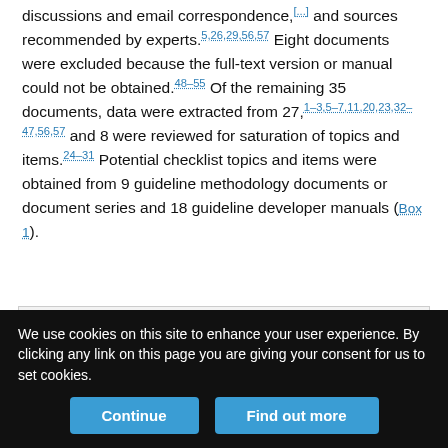discussions and email correspondence, [refs] and sources recommended by experts.[5,26,29,56,57] Eight documents were excluded because the full-text version or manual could not be obtained.[48–55] Of the remaining 35 documents, data were extracted from 27,[1–3,5–7,11,20,23,32–47,56,57] and 8 were reviewed for saturation of topics and items.[24–31] Potential checklist topics and items were obtained from 9 guideline methodology documents or document series and 18 guideline developer manuals (Box 1).
[Figure (other): Partially visible figure or box (Box 1) content area, white rectangle within gray background]
We use cookies on this site to enhance your user experience. By clicking any link on this page you are giving your consent for us to set cookies.